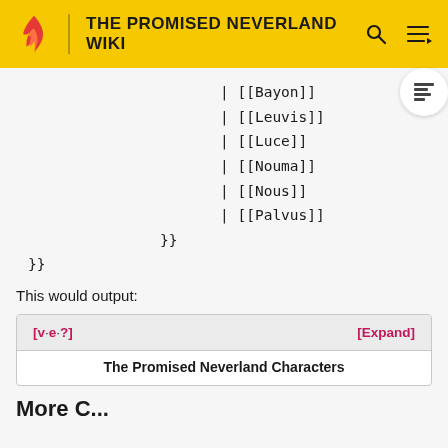THE PROMISED NEVERLAND WIKI
| [[Bayon]]
| [[Leuvis]]
| [[Luce]]
| [[Nouma]]
| [[Nous]]
| [[Palvus]]
        }}
}}
This would output:
| [v·e·?] | [Expand] |
| --- | --- |
| The Promised Neverland Characters |  |